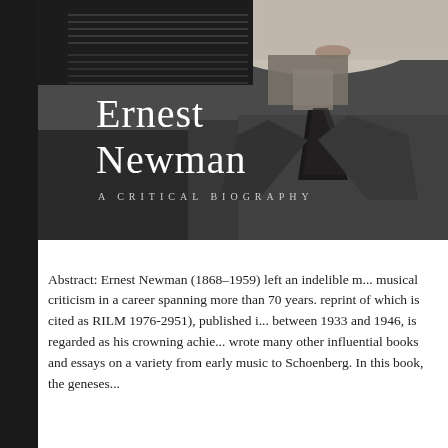[Figure (photo): Black and white portrait photograph of Ernest Newman overlaid with book title text 'Ernest Newman: A Critical Biography'. The upper portion shows musical staff lines and a dark background. The lower portion shows the subject in a suit with tie.]
Abstract: Ernest Newman (1868–1959) left an indelible m... musical criticism in a career spanning more than 70 years. reprint of which is cited as RILM 1976-2951), published i... between 1933 and 1946, is regarded as his crowning achie... wrote many other influential books and essays on a variety from early music to Schoenberg. In this book, the geneses...